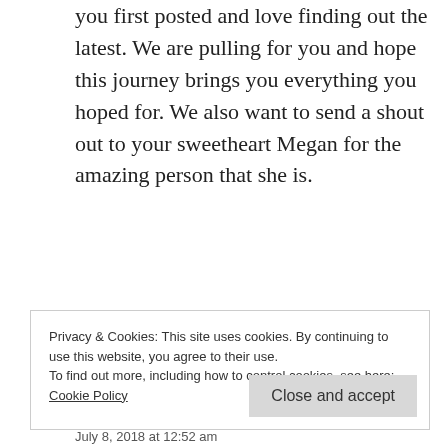you first posted and love finding out the latest. We are pulling for you and hope this journey brings you everything you hoped for. We also want to send a shout out to your sweetheart Megan for the amazing person that she is.
★ Liked by 1 person
Reply
Privacy & Cookies: This site uses cookies. By continuing to use this website, you agree to their use.
To find out more, including how to control cookies, see here:
Cookie Policy
Close and accept
July 8, 2018 at 12:52 am